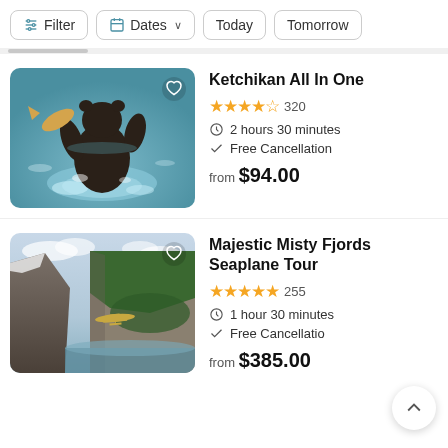Filter | Dates | Today | Tomorrow
[Figure (screenshot): App listing card showing bear catching fish in river — Ketchikan All In One tour]
Ketchikan All In One
★★★★½ 320
2 hours 30 minutes
Free Cancellation
from $94.00
[Figure (screenshot): App listing card showing aerial view of Misty Fjords with seaplane — Majestic Misty Fjords Seaplane Tour]
Majestic Misty Fjords Seaplane Tour
★★★★★ 255
1 hour 30 minutes
Free Cancellation
from $385.00